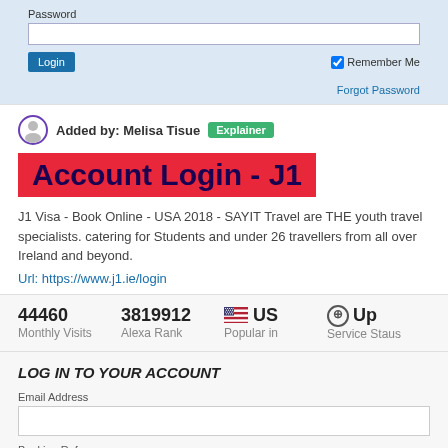Password
Login | Remember Me | Forgot Password
Added by: Melisa Tisue  Explainer
Account Login - J1
J1 Visa - Book Online - USA 2018 - SAYIT Travel are THE youth travel specialists. catering for Students and under 26 travellers from all over Ireland and beyond.
Url: https://www.j1.ie/login
44460  Monthly Visits  |  3819912  Alexa Rank  |  US  Popular in  |  Up  Service Staus
LOG IN TO YOUR ACCOUNT
Email Address
Booking Reference